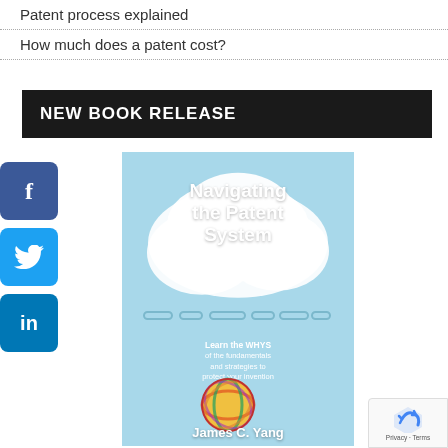Patent process explained
How much does a patent cost?
NEW BOOK RELEASE
[Figure (illustration): Book cover for 'Navigating the Patent System' by James C. Yang, showing a cloud with chains and a colorful ball, with subtitle 'Learn the WHYS of the fundamentals and strategies to protect your invention']
[Figure (logo): reCAPTCHA badge with privacy and terms links]